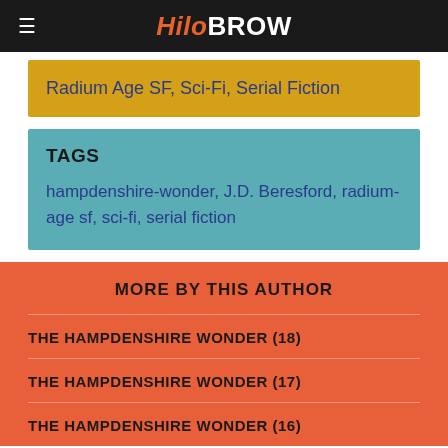HiLoBROW
Radium Age SF, Sci-Fi, Serial Fiction
TAGS
hampdenshire-wonder, J.D. Beresford, radium-age sf, sci-fi, serial fiction
MORE BY THIS AUTHOR
THE HAMPDENSHIRE WONDER (18)
THE HAMPDENSHIRE WONDER (17)
THE HAMPDENSHIRE WONDER (16)